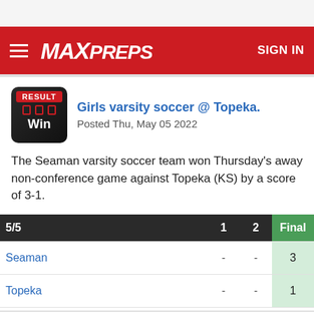MAXPREPS — SIGN IN
Girls varsity soccer @ Topeka.
Posted Thu, May 05 2022
The Seaman varsity soccer team won Thursday's away non-conference game against Topeka (KS) by a score of 3-1.
| 5/5 | 1 | 2 | Final |
| --- | --- | --- | --- |
| Seaman | - | - | 3 |
| Topeka | - | - | 1 |
Box score